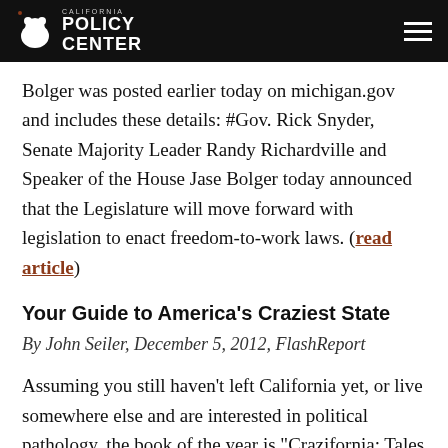California Policy Center
Bolger was posted earlier today on michigan.gov and includes these details: #Gov. Rick Snyder, Senate Majority Leader Randy Richardville and Speaker of the House Jase Bolger today announced that the Legislature will move forward with legislation to enact freedom-to-work laws. (read article)
Your Guide to America’s Craziest State
By John Seiler, December 5, 2012, FlashReport
Assuming you still haven’t left California yet, or live somewhere else and are interested in political pathology, the book of the year is “Crazifornia: Tales